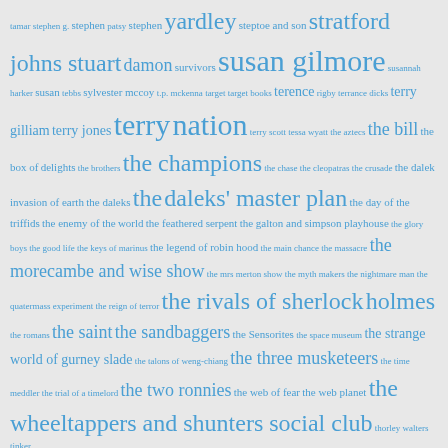[Figure (other): Tag cloud of British television shows and personalities, rendered in varying sizes of blue text on a light grey background. Larger text indicates more prominent/frequent tags.]